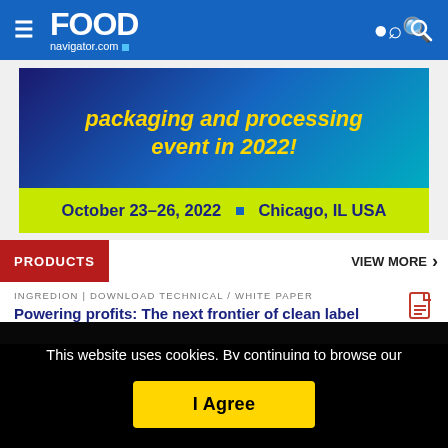FOOD navigator.com
[Figure (other): Trade show advertisement banner: 'packaging and processing event in 2022!' with date 'October 23-26, 2022 · Chicago, IL USA']
PRODUCTS
VIEW MORE
INGREDION | DOWNLOAD TECHNICAL / WHITE PAPER
Powering profits: The next frontier of clean label
This website uses cookies. By continuing to browse our website, you are agreeing to our use of cookies. You can learn more about cookies by visiting our privacy & cookies policy page.
I Agree